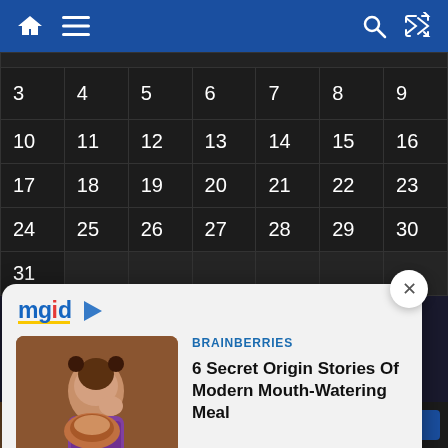[Figure (screenshot): Navigation bar with home icon, hamburger menu, search icon, and shuffle icon on blue background]
| 3 | 4 | 5 | 6 | 7 | 8 | 9 |
| 10 | 11 | 12 | 13 | 14 | 15 | 16 |
| 17 | 18 | 19 | 20 | 21 | 22 | 23 |
| 24 | 25 | 26 | 27 | 28 | 29 | 30 |
| 31 |  |  |  |  |  |  |
[Figure (screenshot): MGID advertisement popup with logo, close button, and article: BRAINBERRIES - 6 Secret Origin Stories Of Modern Mouth-Watering Meal, with food photo]
Egyptian Mummy